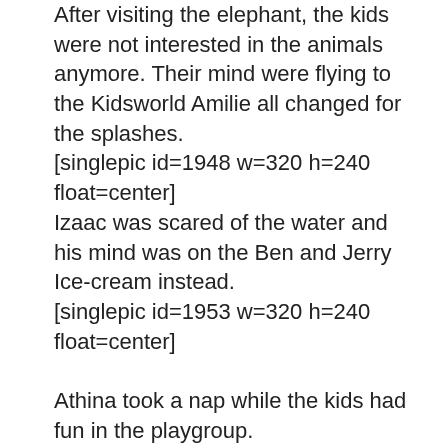After visiting the elephant, the kids were not interested in the animals anymore. Their mind were flying to the Kidsworld Amilie all changed for the splashes.
[singlepic id=1948 w=320 h=240 float=center]
Izaac was scared of the water and his mind was on the Ben and Jerry Ice-cream instead.
[singlepic id=1953 w=320 h=240 float=center]

Athina took a nap while the kids had fun in the playgroup.
[singlepic id=1954 w=320 h=240 float=center]